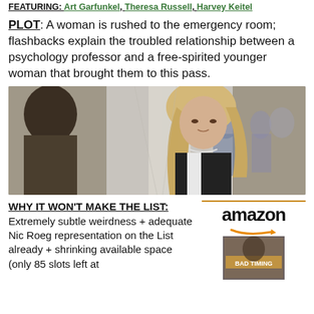FEATURING: Art Garfunkel, Theresa Russell, Harvey Keitel
PLOT: A woman is rushed to the emergency room; flashbacks explain the troubled relationship between a psychology professor and a free-spirited younger woman that brought them to this pass.
[Figure (photo): Film still showing a blonde woman looking sideways in a crowd in an indoor corridor setting.]
WHY IT WON'T MAKE THE LIST:
Extremely subtle weirdness + adequate Nic Roeg representation on the List already + shrinking available space (only 85 slots left at
[Figure (logo): Amazon logo with orange arrow beneath, above a book thumbnail showing 'BAD TIMING' cover.]